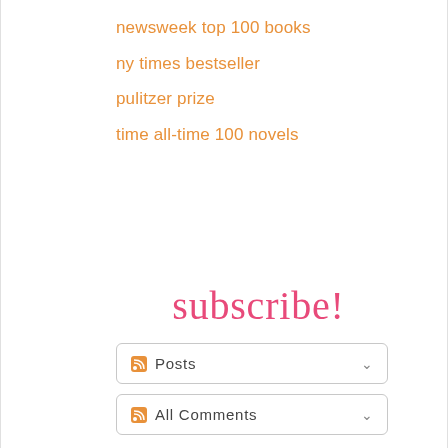newsweek top 100 books
ny times bestseller
pulitzer prize
time all-time 100 novels
subscribe!
Posts
All Comments